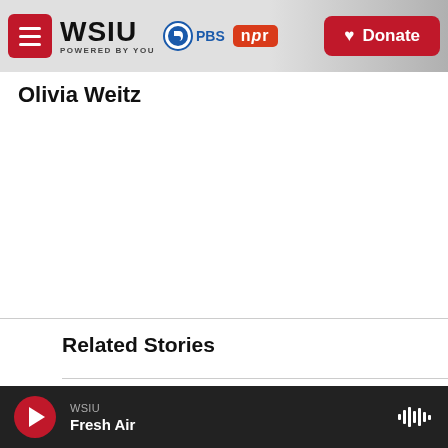WSIU POWERED BY YOU | PBS | npr | Donate
Olivia Weitz
Related Stories
WSIU Fresh Air